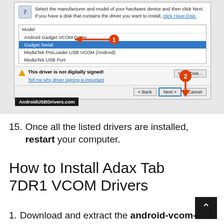[Figure (screenshot): Windows driver installation dialog showing Model list with Android Gadget VCOM Driver, Gadget Serial (highlighted/selected), MediaTek PreLoader USB VCOM (Android), MediaTek USB Port. Warning: 'This driver is not digitally signed!' with link. Have Disk... button and Back/Next/Cancel buttons. Red arrow annotations pointing to Gadget Serial (1) and Next button (2). AndroidUSBDrivers.com watermark.]
15. Once all the listed drivers are installed, restart your computer.
How to Install Adax Tab 7DR1 VCOM Drivers
1. Download and extract the android-vcom-